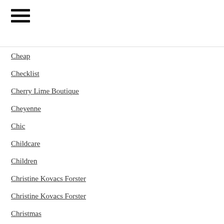[Figure (other): Hamburger menu icon (three horizontal bars)]
Cheap
Checklist
Cherry Lime Boutique
Cheyenne
Chic
Childcare
Children
Christine Kovacs Forster
Christine Kovacs Forster
Christmas
Christmas In July
Church
Cinema
City
Classic
Client